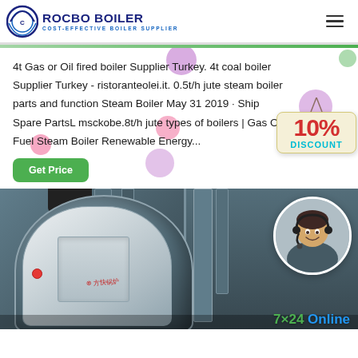ROCBO BOILER — COST-EFFECTIVE BOILER SUPPLIER
4t Gas or Oil fired boiler Supplier Turkey. 4t coal boiler Supplier Turkey - ristoranteolei.it. 0.5t/h jute steam boiler parts and function Steam Boiler May 31 2019 · Ship Spare PartsL msckobe.8t/h jute types of boilers | Gas Oil Fuel Steam Boiler Renewable Energy...
[Figure (infographic): Green 'Get Price' button, decorative colored bubbles, and a '10% DISCOUNT' hanging tag graphic on the right side]
[Figure (photo): Industrial gas/oil fired boiler equipment photograph in a factory setting, with circular inset of customer service representative wearing headset]